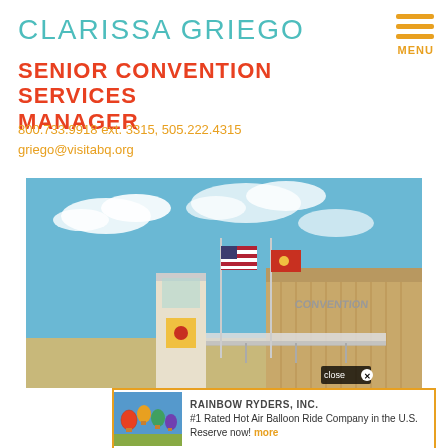CLARISSA GRIEGO
SENIOR CONVENTION SERVICES MANAGER
800.733.9918 ext. 3315, 505.222.4315
griego@visitabq.org
[Figure (photo): Exterior photo of convention center building with blue sky, flags (US, New Mexico state flag, red flag) and a modern building facade with signage]
[Figure (photo): Ad banner for Rainbow Ryders, Inc. showing hot air balloons in sky. Text: RAINBOW RYDERS, INC. #1 Rated Hot Air Balloon Ride Company in the U.S. Reserve now! more]